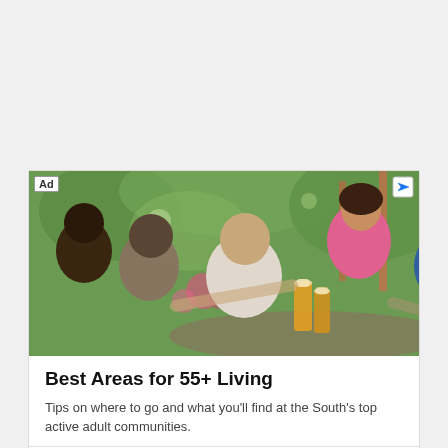[Figure (photo): Advertisement card showing a group of adults laughing and toasting with beer glasses at an outdoor table, served by a woman in a pink shirt. Top-left badge reads 'Ad', top-right has AdChoices icon.]
Best Areas for 55+ Living
Tips on where to go and what you'll find at the South's top active adult communities.
Cresswind   Learn more